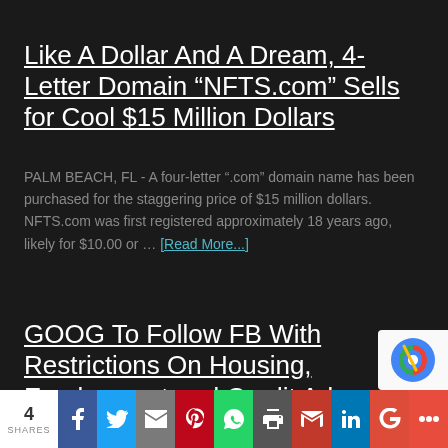Like A Dollar And A Dream, 4-Letter Domain “NFTS.com” Sells for Cool $15 Million Dollars
PALM BEACH, FL - A four-letter “.com” domain name has been purchased for the staggering price of $15 million dollars. NFTS.com was first registered approximately 18 years ago, likely for $10.00 or ... [Read More...]
GOOG To Follow FB With Restrictions On Housing, Employment and Credit Ads